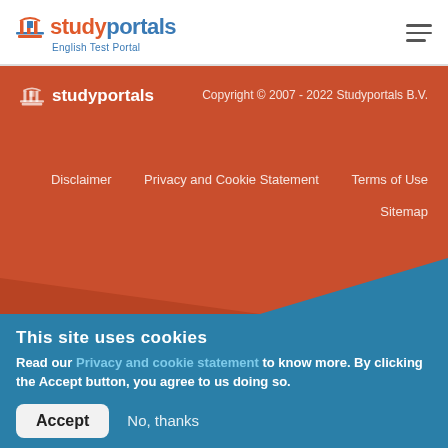studyportals English Test Portal
[Figure (logo): Studyportals logo with building icon, text 'studyportals' and subtitle 'English Test Portal']
Copyright © 2007 - 2022 Studyportals B.V.
Disclaimer   Privacy and Cookie Statement   Terms of Use
Sitemap
This site uses cookies
Read our Privacy and cookie statement to know more. By clicking the Accept button, you agree to us doing so.
Accept   No, thanks